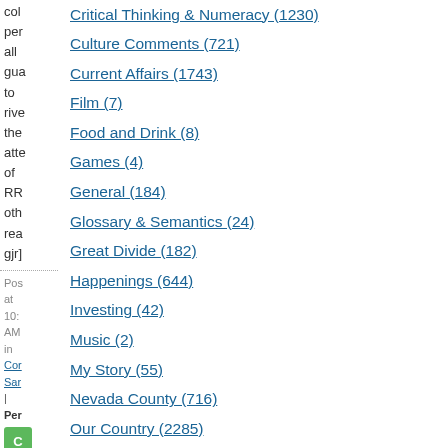col per all gua to rive the atte of RR oth rea gjr]
Post at 10: AM in Cor Sar | Per
Critical Thinking & Numeracy (1230)
Culture Comments (721)
Current Affairs (1743)
Film (7)
Food and Drink (8)
Games (4)
General (184)
Glossary & Semantics (24)
Great Divide (182)
Happenings (644)
Investing (42)
Music (2)
My Story (55)
Nevada County (716)
Our Country (2285)
Our World (581)
Rebane Doctrine (97)
Religion (38)
Science (74)